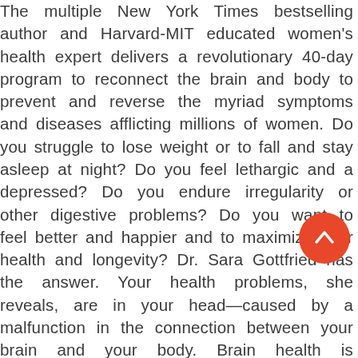The multiple New York Times bestselling author and Harvard-MIT educated women's health expert delivers a revolutionary 40-day program to reconnect the brain and body to prevent and reverse the myriad symptoms and diseases afflicting millions of women. Do you struggle to lose weight or to fall and stay asleep at night? Do you feel lethargic and a depressed? Do you endure irregularity or other digestive problems? Do you want to feel better and happier and to maximize your health and longevity? Dr. Sara Gottfried has the answer. Your health problems, she reveals, are in your head—caused by a malfunction in the connection between your brain and your body. Brain health is a powerful indicator of overall health and well-being. When our thoughts can affect our physical health, what we do to our body also has a lasting impact on our brains. When you ignore your brain-body symptoms, you raise your
[Figure (other): Orange/red circular scroll-up button with white upward arrow icon, positioned in the lower-right area of the text]